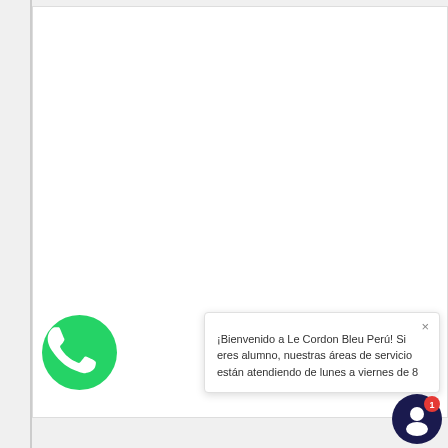[Figure (logo): WhatsApp green circle icon with phone handset in white, positioned at lower left]
× ¡Bienvenido a Le Cordon Bleu Perú! Si eres alumno, nuestras áreas de servicio están atendiendo de lunes a viernes de 8
[Figure (other): Dark navy circular chat/messenger button with white person icon and red notification badge showing 1]